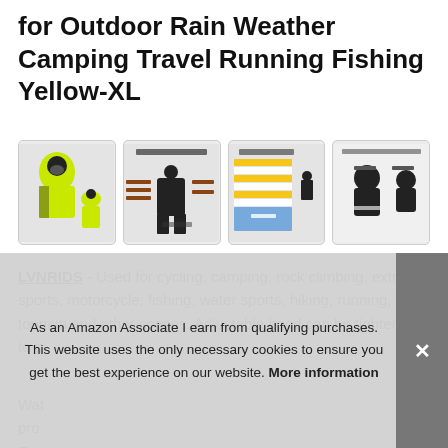for Outdoor Rain Weather Camping Travel Running Fishing Yellow-XL
[Figure (photo): Four product images: (1) yellow rainsuit jacket and pants, (2) product structure diagram of black rainsuit, (3) size chart table with yellow and blue rows, (4) safety reflective strip diagram showing back view of jacket]
LVNRIDS - Used for cycling, camping, rock climbing, extreme sports, motorcycle, fishing, water sports, hiking, running, tourism and other scenes. Adjustable hood can be tightened to p[artly obscured text]
Wat[er obscured] pro[duct obscured] Eas[y obscured]
As an Amazon Associate I earn from qualifying purchases. This website uses the only necessary cookies to ensure you get the best experience on our website. More information